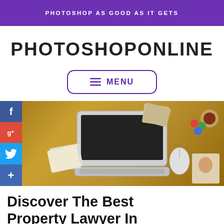PHOTOSHOP AS GOOD AS IT GETS
PHOTOSHOPONLINE
≡ MENU
[Figure (photo): Flat lay photo of a laptop, mouse, printed photos and design materials on a golden/tan desk surface. Social media icons (Facebook, Google+, Twitter, Google+) appear on the left side.]
Discover The Best Property Lawyer In